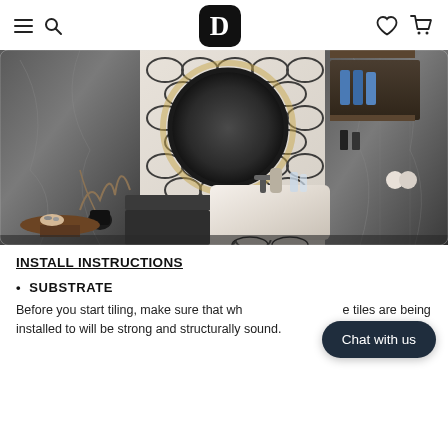D (logo with hamburger, search, heart, cart icons)
[Figure (photo): Luxury bathroom interior with marble sink, round mirror, geometric tile wall pattern, dark marble walls, shelving with blue bottles and towels]
INSTALL INSTRUCTIONS
SUBSTRATE
Before you start tiling, make sure that whatever surface the tiles are being installed to will be strong and structurally sound.